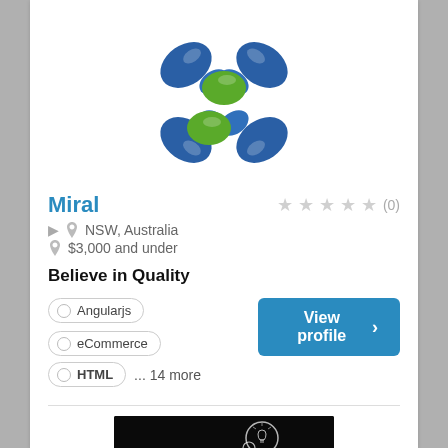[Figure (logo): Miral company logo: blue and green blob/dumbbell shapes arranged in a cross/X pattern]
Miral
★★★★★ (0)
NSW, Australia
$3,000 and under
Believe in Quality
Angularjs
eCommerce
HTML
... 14 more
[Figure (photo): Person sitting on a couch with a laptop, with a thought bubble containing a lightbulb illustration, on a dark/black background]